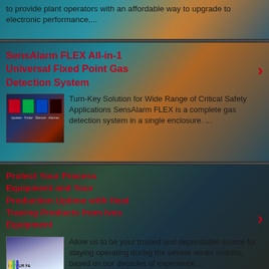to provide plant operators with an affordable way to upgrade to electronic performance,...
SensAlarm FLEX All-in-1 Universal Fixed Point Gas Detection System
[Figure (photo): Product image of SensAlarm FLEX gas detection unit with colored indicator panels]
Turn-Key Solution for Wide Range of Critical Safety Applications SensAlarm FLEX is a complete gas detection system in a single enclosure. ...
Protect Your Process Equipment and Your Production Uptime with Heat Tracing Products from Ives Equipment
[Figure (photo): Image showing electrical cables with text: IS YOUR FA READY FO COLD WEA]
Allow us to be your trusted and dependable source for staying operating during the severe winter months, based on our decades of experience ...